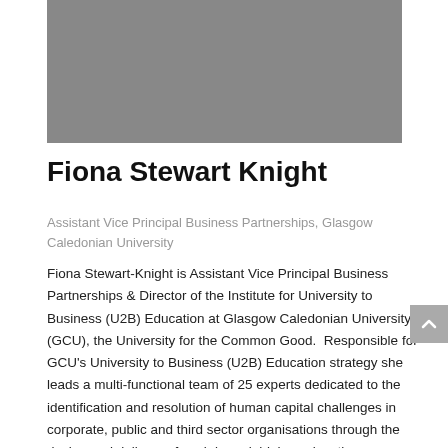[Figure (photo): A partial photo of a person in front of a metallic/dark background, cropped at the top of the page]
Fiona Stewart Knight
Assistant Vice Principal Business Partnerships, Glasgow Caledonian University
Fiona Stewart-Knight is Assistant Vice Principal Business Partnerships & Director of the Institute for University to Business (U2B) Education at Glasgow Caledonian University (GCU), the University for the Common Good.  Responsible for GCU's University to Business (U2B) Education strategy she leads a multi-functional team of 25 experts dedicated to the identification and resolution of human capital challenges in corporate, public and third sector organisations through the design and delivery of work-based, higher education programmes.